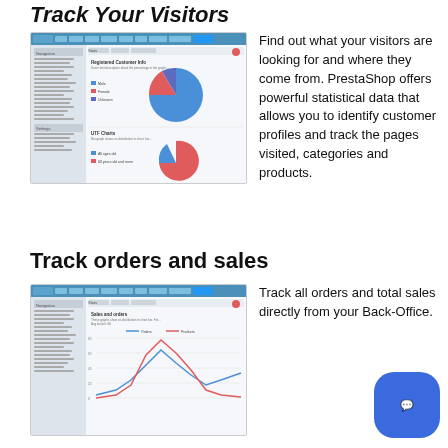Track Your Visitors
[Figure (screenshot): PrestaShop admin stats interface showing pie charts for registered customer info by gender and age groups]
Find out what your visitors are looking for and where they come from. PrestaShop offers powerful statistical data that allows you to identify customer profiles and track the pages visited, categories and products.
Track orders and sales
[Figure (screenshot): PrestaShop admin stats interface showing sales and orders line/area chart]
Track all orders and total sales directly from your Back-Office.